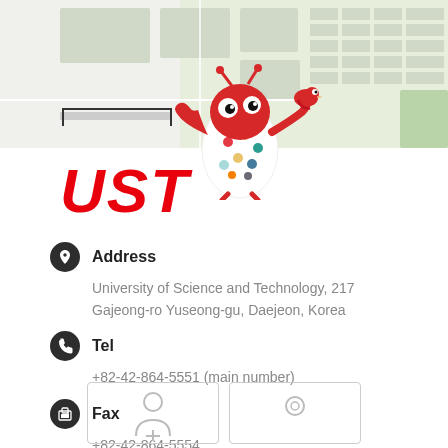[Figure (map): Map background showing campus area with light green/grey building outlines and road layout]
[Figure (illustration): UST mascot: red cartoon lobster/crab character wearing a white dress with colorful polka dots, holding a small bird, cheerful pose]
UST
Address
University of Science and Technology, 217 Gajeong-ro Yuseong-gu, Daejeon, Korea
Tel
+82-42-864-5551 (main number)
Fax
+82-42-864-5554
[Figure (other): Two button boxes at the bottom with person/user icons, partially visible]